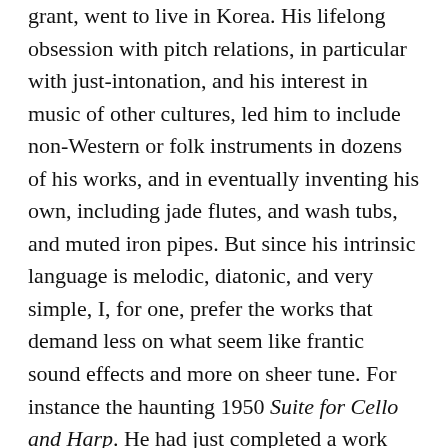grant, went to live in Korea. His lifelong obsession with pitch relations, in particular with just-intonation, and his interest in music of other cultures, led him to include non-Western or folk instruments in dozens of his works, and in eventually inventing his own, including jade flutes, and wash tubs, and muted iron pipes. But since his intrinsic language is melodic, diatonic, and very simple, I, for one, prefer the works that demand less on what seem like frantic sound effects and more on sheer tune. For instance the haunting 1950 Suite for Cello and Harp. He had just completed a work called Nek Chand for a Hawaiian slack guitar, and corrected final proofs of a book of poems plus some gamelan scores and drawings, when he dropped dead last February at a Denny's restaurant in Lafayette, Indiana. He was 85.